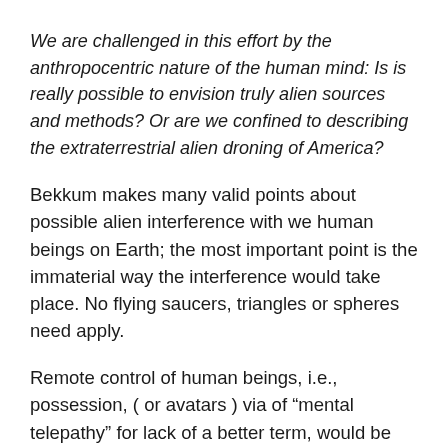We are challenged in this effort by the anthropocentric nature of the human mind: Is is really possible to envision truly alien sources and methods? Or are we confined to describing the extraterrestrial alien droning of America?
Bekkum makes many valid points about possible alien interference with we human beings on Earth; the most important point is the immaterial way the interference would take place. No flying saucers, triangles or spheres need apply.
Remote control of human beings, i.e., possession, ( or avatars ) via of “mental telepathy” for lack of a better term, would be preferable to outright invasion and destroying turf. Especially if proxy colonization or species manipulation is part and parcel of the alien’s overall